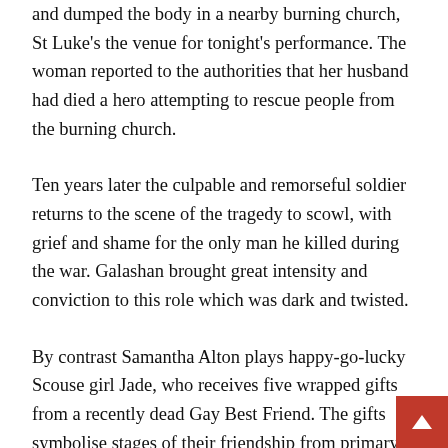and dumped the body in a nearby burning church, St Luke's the venue for tonight's performance. The woman reported to the authorities that her husband had died a hero attempting to rescue people from the burning church.
Ten years later the culpable and remorseful soldier returns to the scene of the tragedy to scowl, with grief and shame for the only man he killed during the war. Galashan brought great intensity and conviction to this role which was dark and twisted.
By contrast Samantha Alton plays happy-go-lucky Scouse girl Jade, who receives five wrapped gifts from a recently dead Gay Best Friend. The gifts symbolise stages of their friendship from primary school when